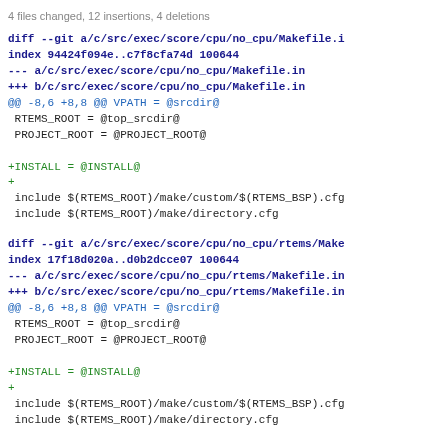4 files changed, 12 insertions, 4 deletions
diff --git a/c/src/exec/score/cpu/no_cpu/Makefile.i
index 94424f094e..c7f8cfa74d 100644
--- a/c/src/exec/score/cpu/no_cpu/Makefile.in
+++ b/c/src/exec/score/cpu/no_cpu/Makefile.in
@@ -8,6 +8,8 @@ VPATH = @srcdir@
 RTEMS_ROOT = @top_srcdir@
 PROJECT_ROOT = @PROJECT_ROOT@

+INSTALL = @INSTALL@
+
 include $(RTEMS_ROOT)/make/custom/$(RTEMS_BSP).cfg
 include $(RTEMS_ROOT)/make/directory.cfg
diff --git a/c/src/exec/score/cpu/no_cpu/rtems/Make
index 17f18d020a..d0b2dcce07 100644
--- a/c/src/exec/score/cpu/no_cpu/rtems/Makefile.in
+++ b/c/src/exec/score/cpu/no_cpu/rtems/Makefile.in
@@ -8,6 +8,8 @@ VPATH = @srcdir@
 RTEMS_ROOT = @top_srcdir@
 PROJECT_ROOT = @PROJECT_ROOT@

+INSTALL = @INSTALL@
+
 include $(RTEMS_ROOT)/make/custom/$(RTEMS_BSP).cfg
 include $(RTEMS_ROOT)/make/directory.cfg